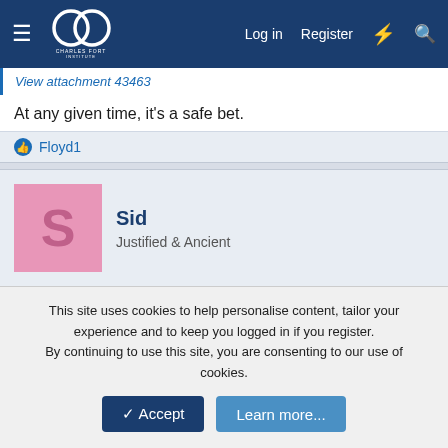Charles Fort Institute — Log in | Register
View attachment 43463
At any given time, it's a safe bet.
Floyd1
Sid
Justified & Ancient
Dec 19, 2021  #588
PeteByrdie said:
Has this one from Reddit been posted yet?
View attachment 40272
This site uses cookies to help personalise content, tailor your experience and to keep you logged in if you register.
By continuing to use this site, you are consenting to our use of cookies.